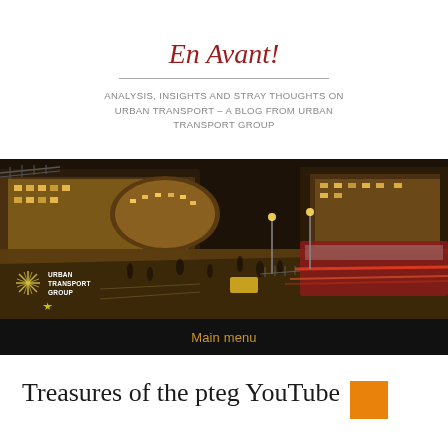En Avant!
ANALYSIS, INSIGHTS AND STRAY THOUGHTS ON URBAN TRANSPORT – A BLOG FROM URBAN TRANSPORT GROUP
[Figure (photo): Aerial night-time view of a busy city street/transport hub with blurred vehicle lights, pedestrians, and tram/bus. Urban Transport Group logo overlay at bottom-left.]
Main menu
Treasures of the pteg YouTube